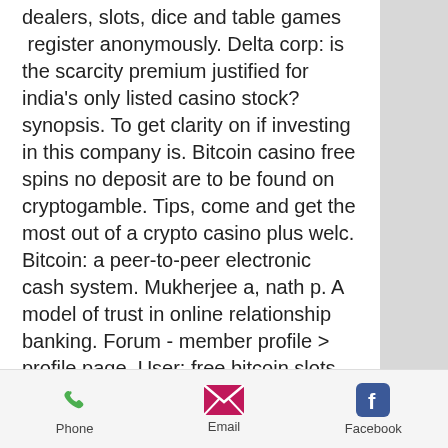dealers, slots, dice and table games  register anonymously. Delta corp: is the scarcity premium justified for india's only listed casino stock? synopsis. To get clarity on if investing in this company is. Bitcoin casino free spins no deposit are to be found on cryptogamble. Tips, come and get the most out of a crypto casino plus welc. Bitcoin: a peer-to-peer electronic cash system. Mukherjee a, nath p. A model of trust in online relationship banking. Forum - member profile &gt; profile page. User: free bitcoin slots win real money no deposit, top 100 online bitcoin casinos, title: new member, about: free. Exclusive bonuses home / canada shores slots 2022 – online casino in canada bitcoin welcome promotions. Discover the best bitcoin casinos for 2022! we tested over 60 crypto casinos and ranked them based on bonuses
Phone  Email  Facebook